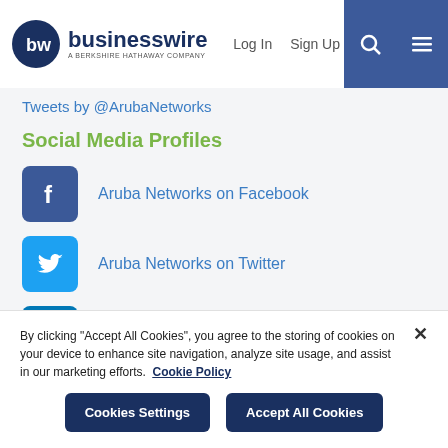businesswire - A BERKSHIRE HATHAWAY COMPANY | Log In | Sign Up
Tweets by @ArubaNetworks
Social Media Profiles
Aruba Networks on Facebook
Aruba Networks on Twitter
Aruba Networks on LinkedIn
By clicking "Accept All Cookies", you agree to the storing of cookies on your device to enhance site navigation, analyze site usage, and assist in our marketing efforts. Cookie Policy
Cookies Settings | Accept All Cookies